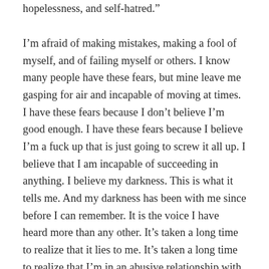hopelessness, and self-hatred.”
I’m afraid of making mistakes, making a fool of myself, and of failing myself or others. I know many people have these fears, but mine leave me gasping for air and incapable of moving at times. I have these fears because I don’t believe I’m good enough. I have these fears because I believe I’m a fuck up that is just going to screw it all up. I believe that I am incapable of succeeding in anything. I believe my darkness. This is what it tells me. And my darkness has been with me since before I can remember. It is the voice I have heard more than any other. It’s taken a long time to realize that it lies to me. It’s taken a long time to realize that I’m in an abusive relationship with my darkness/myself. I am a battered woman, and it’s my own punches that have been thrown. In October 2013, Anne Theriault wrote a piece for Huffington Post, Ten Lies Your Depression Tells You that accurately